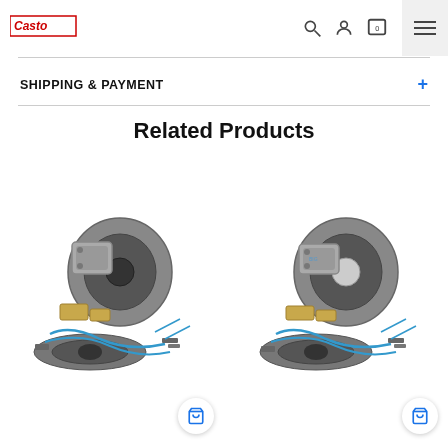Casto logo, search icon, user icon, cart icon (0), menu icon
SHIPPING & PAYMENT
Related Products
[Figure (photo): Brake kit product image showing caliper, brake discs, pads, brake lines and hardware components - left product card with cart button]
[Figure (photo): Brake kit product image showing caliper, brake discs, pads, brake lines and hardware components - right product card with cart button]